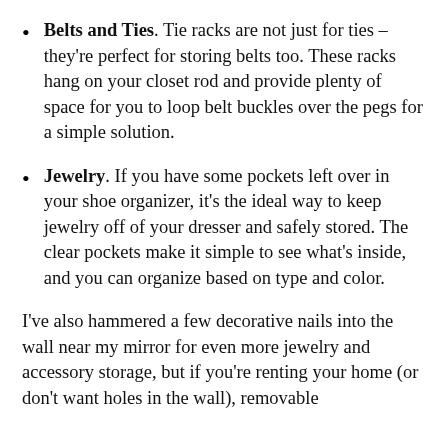Belts and Ties. Tie racks are not just for ties – they're perfect for storing belts too. These racks hang on your closet rod and provide plenty of space for you to loop belt buckles over the pegs for a simple solution.
Jewelry. If you have some pockets left over in your shoe organizer, it's the ideal way to keep jewelry off of your dresser and safely stored. The clear pockets make it simple to see what's inside, and you can organize based on type and color.
I've also hammered a few decorative nails into the wall near my mirror for even more jewelry and accessory storage, but if you're renting your home (or don't want holes in the wall), removable